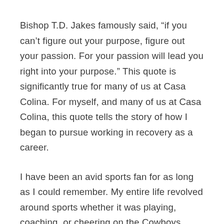Bishop T.D. Jakes famously said, “if you can’t figure out your purpose, figure out your passion. For your passion will lead you right into your purpose.” This quote is significantly true for many of us at Casa Colina. For myself, and many of us at Casa Colina, this quote tells the story of how I began to pursue working in recovery as a career.
I have been an avid sports fan for as long as I could remember. My entire life revolved around sports whether it was playing, coaching, or cheering on the Cowboys, Mavericks, Rangers, Stars, or Sooners. I had always dreamed of a career in sports. As I got older, it was evident